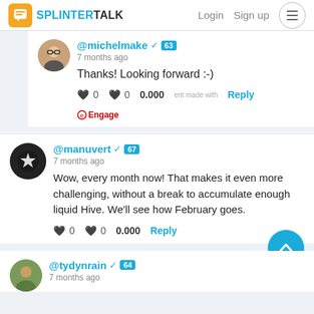SPLINTER TALK | Login | Sign up
@michelmake ✓ 63
7 months ago
Thanks! Looking forward :-)
♥ 0   ♥ 0   0.000   Reply  Engage
@manuvert ✓ 67
7 months ago
Wow, every month now! That makes it even more challenging, without a break to accumulate enough liquid Hive. We'll see how February goes.
♥ 0   ♥ 0   0.000   Reply
@tydynrain ✓ 64
7 months ago